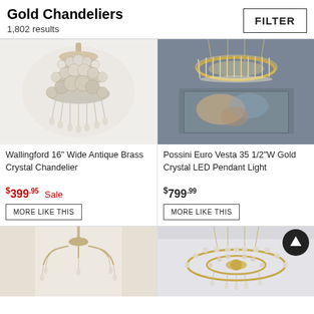Gold Chandeliers
1,802 results
[Figure (screenshot): Filter button in top right corner]
[Figure (photo): Wallingford 16 inch Wide Antique Brass Crystal Chandelier product photo]
[Figure (photo): Possini Euro Vesta 35 1/2 inch W Gold Crystal LED Pendant Light product photo]
Wallingford 16" Wide Antique Brass Crystal Chandelier
Possini Euro Vesta 35 1/2"W Gold Crystal LED Pendant Light
$399.95 Sale
$799.99
MORE LIKE THIS
MORE LIKE THIS
[Figure (photo): Antique brass crystal chandelier with elongated arm design - bottom left product photo]
[Figure (photo): Modern circular gold crystal chandelier - bottom right product photo]